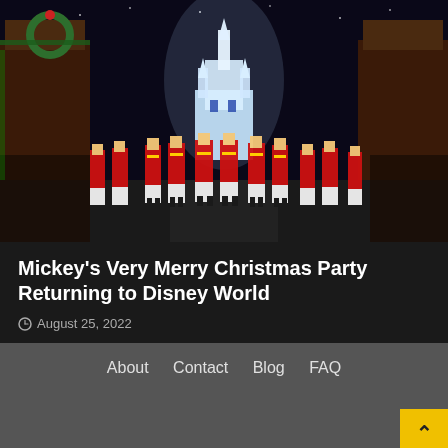[Figure (photo): Night-time Christmas parade at Disney World's Magic Kingdom. Performers dressed as toy soldiers in red uniforms march down Main Street with Cinderella Castle lit up in the background, surrounded by Christmas decorations and crowds.]
Mickey's Very Merry Christmas Party Returning to Disney World
August 25, 2022
About  Contact  Blog  FAQ
Copyright © All rights reserved. | DarkNews by Af themes.
Translate »